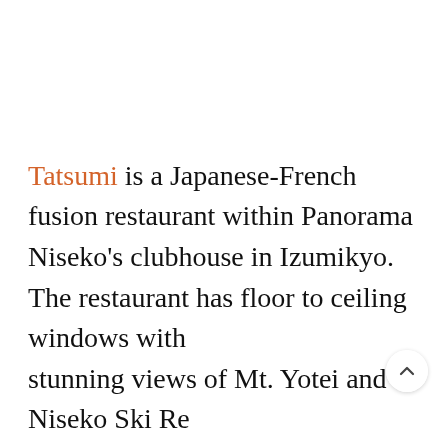Tatsumi is a Japanese-French fusion restaurant within Panorama Niseko's clubhouse in Izumikyo. The restaurant has floor to ceiling windows with stunning views of Mt. Yotei and Niseko Ski Resort...